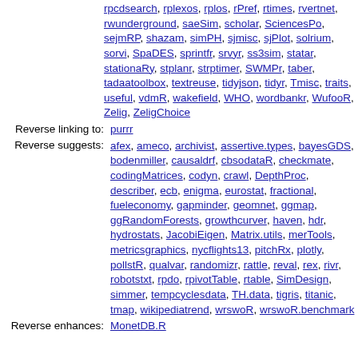rpcdsearch, rplexos, rplos, rPref, rtimes, rvertnet, rwunderground, saeSim, scholar, SciencesPo, sejmRP, shazam, simPH, sjmisc, sjPlot, solrium, sorvi, SpaDES, sprintfr, srvyr, ss3sim, statar, stationaRy, stplanr, strptimer, SWMPr, taber, tadaatoolbox, textreuse, tidyjson, tidyr, Tmisc, traits, useful, vdmR, wakefield, WHO, wordbankr, WufooR, Zelig, ZeligChoice
Reverse linking to: purrr
Reverse suggests: afex, ameco, archivist, assertive.types, bayesGDS, bodenmiller, causaldrf, cbsodataR, checkmate, codingMatrices, codyn, crawl, DepthProc, describer, ecb, enigma, eurostat, fractional, fueleconomy, gapminder, geomnet, ggmap, ggRandomForests, growthcurver, haven, hdr, hydrostats, JacobiEigen, Matrix.utils, merTools, metricsgraphics, nycflights13, pitchRx, plotly, pollstR, qualvar, randomizr, rattle, reval, rex, rivr, robotstxt, rpdo, rpivotTable, rtable, SimDesign, simmer, tempcyclesdata, TH.data, tigris, titanic, tmap, wikipediatrend, wrswoR, wrswoR.benchmark
Reverse enhances: MonetDB.R